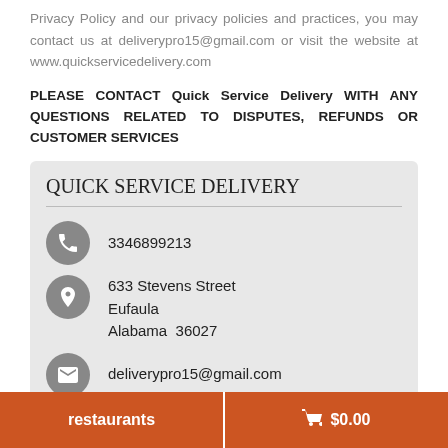Privacy Policy and our privacy policies and practices, you may contact us at deliverypro15@gmail.com or visit the website at www.quickservicedelivery.com
PLEASE CONTACT Quick Service Delivery WITH ANY QUESTIONS RELATED TO DISPUTES, REFUNDS OR CUSTOMER SERVICES
[Figure (infographic): Contact card for Quick Service Delivery showing phone number 3346899213, address 633 Stevens Street, Eufaula, Alabama 36027, and email deliverypro15@gmail.com with icons]
restaurants  🛒 $0.00